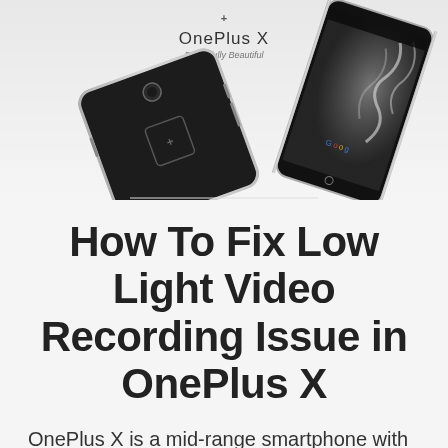[Figure (photo): Two OnePlus X smartphones shown against a white background with the OnePlus logo and 'OnePlus X — Powerfully Beautiful' text. One phone shows the back, one shows the front with a dragon/smoke wallpaper.]
How To Fix Low Light Video Recording Issue in OnePlus X
OnePlus X is a mid-range smartphone with great specifications. It is quite hard